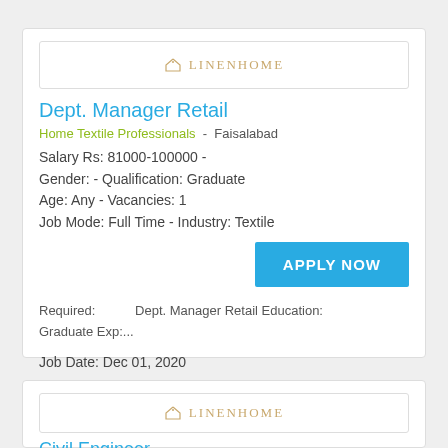[Figure (logo): Linenhome logo with house icon]
Dept. Manager Retail
Home Textile Professionals  -  Faisalabad
Salary Rs: 81000-100000 -
Gender: - Qualification: Graduate
Age: Any - Vacancies: 1
Job Mode: Full Time - Industry: Textile
APPLY NOW
Required:           Dept. Manager Retail Education:
Graduate Exp:...
Job Date: Dec 01, 2020
[Figure (logo): Linenhome logo with house icon]
Civil Engineer